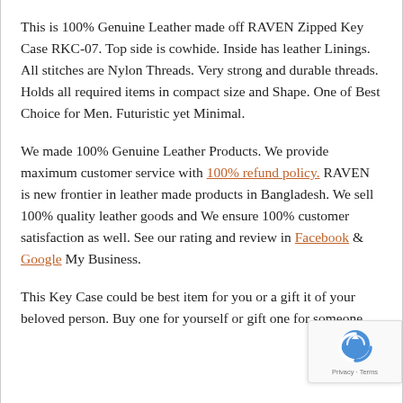This is 100% Genuine Leather made off RAVEN Zipped Key Case RKC-07. Top side is cowhide. Inside has leather Linings. All stitches are Nylon Threads. Very strong and durable threads. Holds all required items in compact size and Shape. One of Best Choice for Men. Futuristic yet Minimal.
We made 100% Genuine Leather Products. We provide maximum customer service with 100% refund policy. RAVEN is new frontier in leather made products in Bangladesh. We sell 100% quality leather goods and We ensure 100% customer satisfaction as well. See our rating and review in Facebook & Google My Business.
This Key Case could be best item for you or a gift it of your beloved person. Buy one for yourself or gift one for someone.